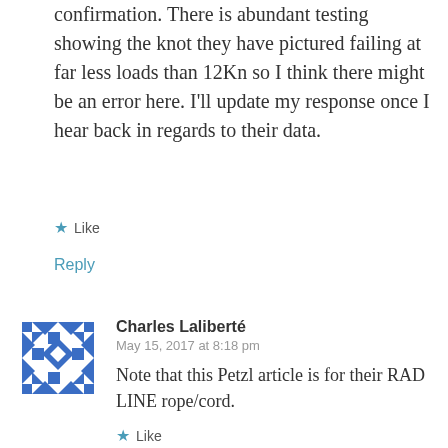confirmation. There is abundant testing showing the knot they have pictured failing at far less loads than 12Kn so I think there might be an error here. I'll update my response once I hear back in regards to their data.
Like
Reply
[Figure (illustration): Blue geometric avatar icon with repeating diamond and triangle pattern]
Charles Laliberté
May 15, 2017 at 8:18 pm
Note that this Petzl article is for their RAD LINE rope/cord.
Like